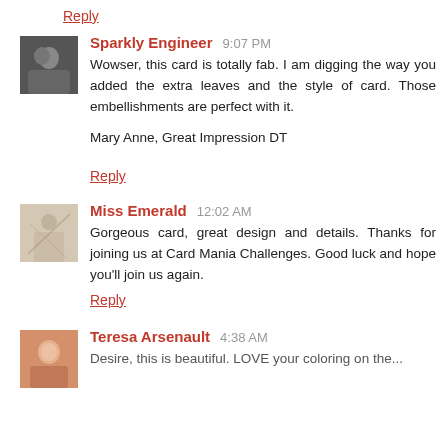Reply
Sparkly Engineer  9:07 PM
Wowser, this card is totally fab. I am digging the way you added the extra leaves and the style of card. Those embellishments are perfect with it.
Mary Anne, Great Impression DT
Reply
Miss Emerald  12:02 AM
Gorgeous card, great design and details. Thanks for joining us at Card Mania Challenges. Good luck and hope you'll join us again.
Reply
Teresa Arsenault  4:38 AM
Desire, this is beautiful. LOVE your coloring on the...